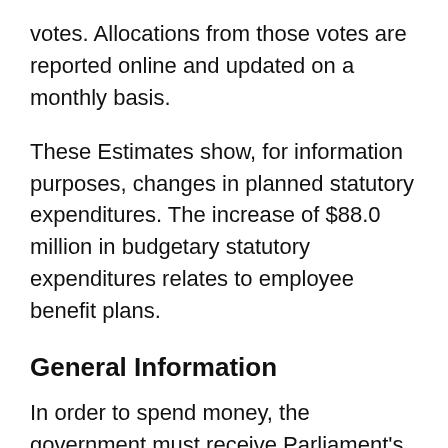votes. Allocations from those votes are reported online and updated on a monthly basis.
These Estimates show, for information purposes, changes in planned statutory expenditures. The increase of $88.0 million in budgetary statutory expenditures relates to employee benefit plans.
General Information
In order to spend money, the government must receive Parliament’s approval, either through previously adopted legislation that